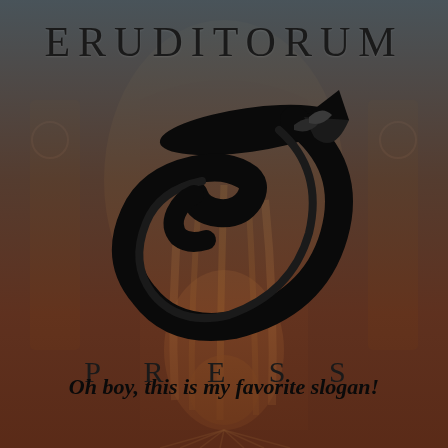[Figure (logo): Eruditorum Press logo page with illustrated fantasy background showing a figure with long hair in a decorative archway, overlaid with teal/grey gradient at top and reddish-brown gradient at bottom. Large stylized 'EP' cursive logo in black dominates the center.]
ERUDITORUM
P R E S S
Oh boy, this is my favorite slogan!